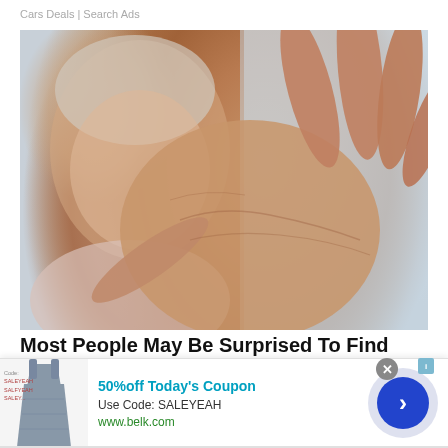Cars Deals | Search Ads
[Figure (photo): Elderly woman holding up her hand showing fingers spread, suggesting arthritis or joint pain. Close-up of hands in foreground with blurred face in background.]
Most People May Be Surprised To Find Out What
[Figure (infographic): Advertisement overlay: 50%off Today's Coupon. Use Code: SALEYEAH. www.belk.com. Shows a dress image on the left and a blue arrow button on the right. Close button (X) in upper right corner.]